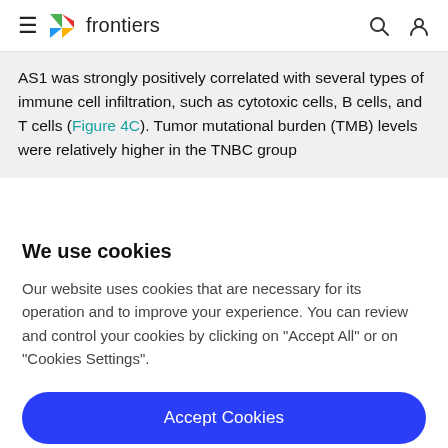frontiers
AS1 was strongly positively correlated with several types of immune cell infiltration, such as cytotoxic cells, B cells, and T cells (Figure 4C). Tumor mutational burden (TMB) levels were relatively higher in the TNBC group
We use cookies
Our website uses cookies that are necessary for its operation and to improve your experience. You can review and control your cookies by clicking on "Accept All" or on "Cookies Settings".
Accept Cookies
Cookies Settings